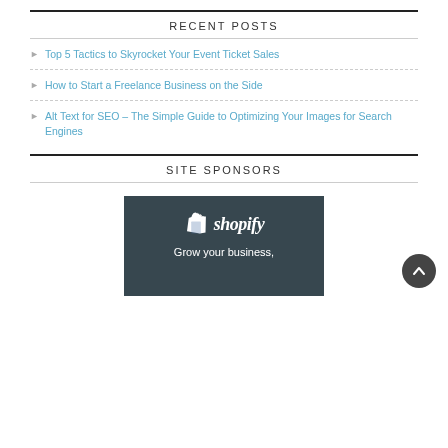RECENT POSTS
Top 5 Tactics to Skyrocket Your Event Ticket Sales
How to Start a Freelance Business on the Side
Alt Text for SEO – The Simple Guide to Optimizing Your Images for Search Engines
SITE SPONSORS
[Figure (logo): Shopify sponsor banner with logo and tagline 'Grow your business,']